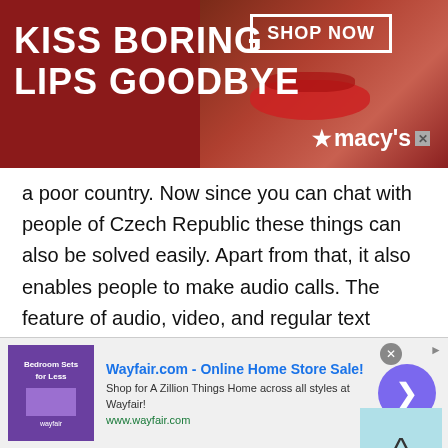[Figure (infographic): Macy's advertisement banner with red background, woman's lips/face, text 'KISS BORING LIPS GOODBYE', 'SHOP NOW' button, and Macy's star logo]
a poor country. Now since you can chat with people of Czech Republic these things can also be solved easily. Apart from that, it also enables people to make audio calls. The feature of audio, video, and regular text chatting makes a Talkwithstranger a unique platform.
2. Multimedia messaging with Czech users:
In the early '20s multimedia messaging used to be a
[Figure (infographic): Wayfair.com online advertisement: 'Wayfair.com - Online Home Store Sale!' with Wayfair bedroom sets image, description text, and navigation arrow button]